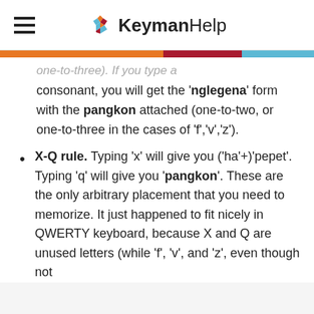KeymanHelp
one-to-three). If you type a consonant, you will get the 'nglegena' form with the pangkon attached (one-to-two, or one-to-three in the cases of 'f','v','z').
X-Q rule. Typing 'x' will give you ('ha'+'pepet'. Typing 'q' will give you 'pangkon'. These are the only arbitrary placement that you need to memorize. It just happened to fit nicely in QWERTY keyboard, because X and Q are unused letters (while 'f', 'v', and 'z', even though not